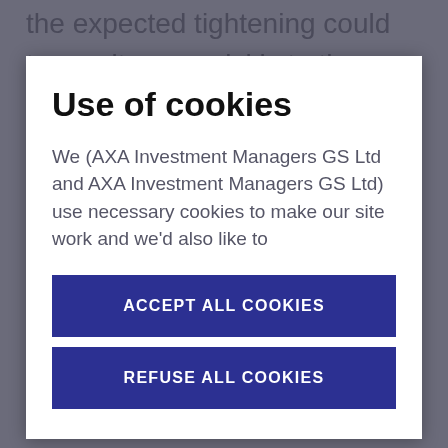the expected tightening could transmit very quickly to the economy. Focus is however for now firmly on
Use of cookies
We (AXA Investment Managers GS Ltd and AXA Investment Managers GS Ltd) use necessary cookies to make our site work and we'd also like to
ACCEPT ALL COOKIES
REFUSE ALL COOKIES
reduction in fiscal room for manoeuvre the market tightening will trigger. The French government losing its absolute majority in parliament comes at